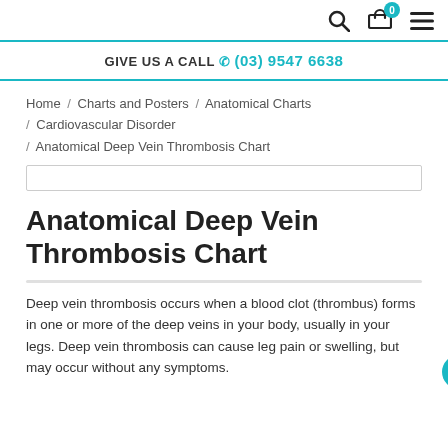Search | Cart (0) | Menu
GIVE US A CALL (03) 9547 6638
Home / Charts and Posters / Anatomical Charts / Cardiovascular Disorder / Anatomical Deep Vein Thrombosis Chart
Anatomical Deep Vein Thrombosis Chart
Deep vein thrombosis occurs when a blood clot (thrombus) forms in one or more of the deep veins in your body, usually in your legs. Deep vein thrombosis can cause leg pain or swelling, but may occur without any symptoms.